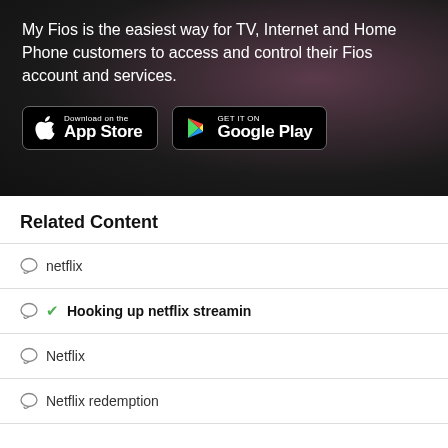My Fios is the easiest way for TV, Internet and Home Phone customers to access and control their Fios account and services.
[Figure (screenshot): App Store and Google Play download buttons on dark background]
Related Content
netflix
Hooking up netflix streamin
Netflix
Netflix redemption